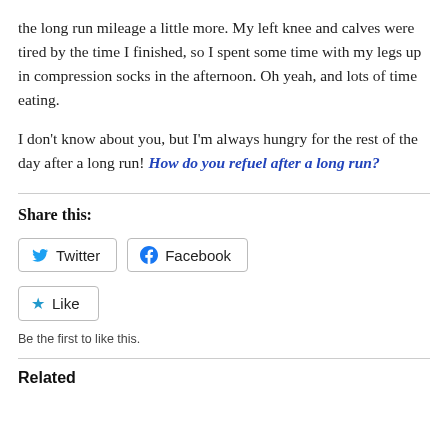the long run mileage a little more. My left knee and calves were tired by the time I finished, so I spent some time with my legs up in compression socks in the afternoon. Oh yeah, and lots of time eating.
I don't know about you, but I'm always hungry for the rest of the day after a long run! How do you refuel after a long run?
Share this:
Twitter
Facebook
Like
Be the first to like this.
Related